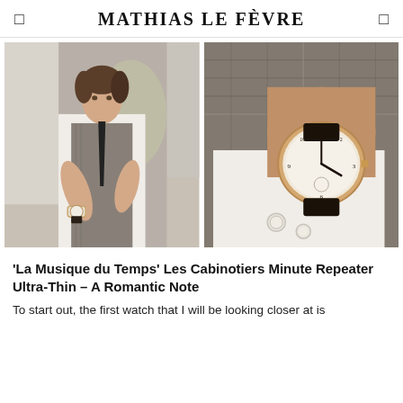MATHIAS LE FÈVRE
[Figure (photo): Young man in white dress shirt, grey plaid waistcoat and dark tie, looking down at a watch on his wrist, indoor setting with soft background light]
[Figure (photo): Close-up of a wristwatch with white dial and Arabic numerals on a rose gold case, worn on a wrist with white dress shirt cuff and grey plaid suit jacket]
'La Musique du Temps' Les Cabinotiers Minute Repeater Ultra-Thin – A Romantic Note
To start out, the first watch that I will be looking closer at is